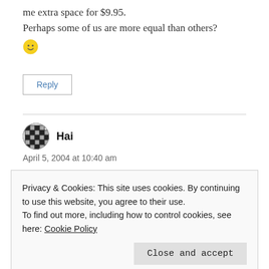me extra space for $9.95.
Perhaps some of us are more equal than others?
[Figure (illustration): Yellow smiley face emoji]
Reply
Hai
April 5, 2004 at 10:40 am
Privacy & Cookies: This site uses cookies. By continuing to use this website, you agree to their use.
To find out more, including how to control cookies, see here: Cookie Policy
Close and accept